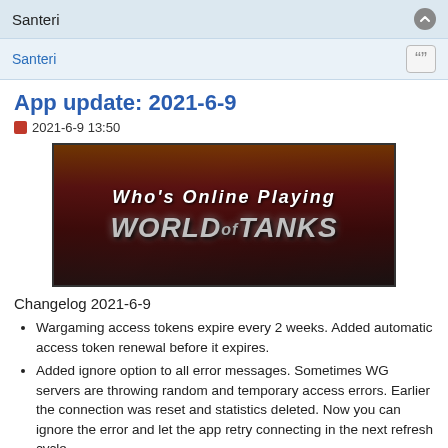Santeri
Santeri
App update: 2021-6-9
2021-6-9 13:50
[Figure (screenshot): Screenshot of 'Who's Online Playing World of Tanks' banner image with dark red/brown background and large stylized text]
Changelog 2021-6-9
Wargaming access tokens expire every 2 weeks. Added automatic access token renewal before it expires.
Added ignore option to all error messages. Sometimes WG servers are throwing random and temporary access errors. Earlier the connection was reset and statistics deleted. Now you can ignore the error and let the app retry connecting in the next refresh cycle.
Fixed minor bugs including the one that limited the initial showing of